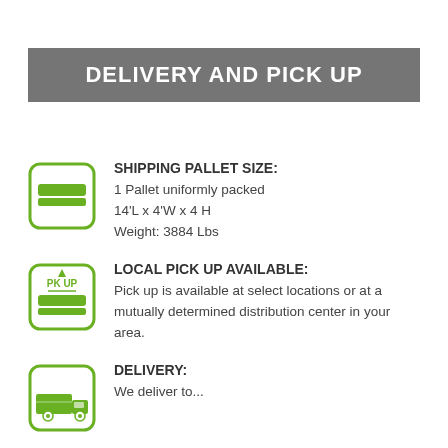DELIVERY AND PICK UP
SHIPPING PALLET SIZE: 1 Pallet uniformly packed 14'L x 4'W x 4 H Weight: 3884 Lbs
LOCAL PICK UP AVAILABLE: Pick up is available at select locations or at a mutually determined distribution center in your area.
DELIVERY: We deliver to...